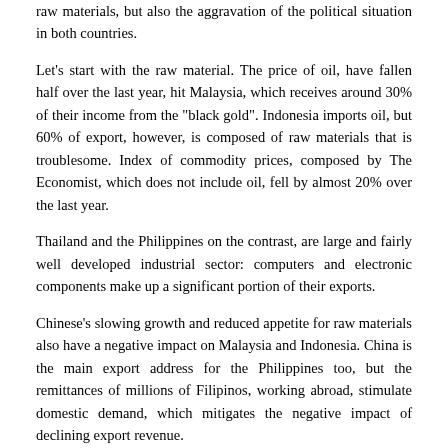raw materials, but also the aggravation of the political situation in both countries.
Let's start with the raw material. The price of oil, have fallen half over the last year, hit Malaysia, which receives around 30% of their income from the "black gold". Indonesia imports oil, but 60% of export, however, is composed of raw materials that is troublesome. Index of commodity prices, composed by The Economist, which does not include oil, fell by almost 20% over the last year.
Thailand and the Philippines on the contrast, are large and fairly well developed industrial sector: computers and electronic components make up a significant portion of their exports.
Chinese's slowing growth and reduced appetite for raw materials also have a negative impact on Malaysia and Indonesia. China is the main export address for the Philippines too, but the remittances of millions of Filipinos, working abroad, stimulate domestic demand, which mitigates the negative impact of declining export revenue.
The current account deficit and the fact that a significant portion of the public debt is in foreign hands, are making Indonesia especially vulnerable to rising rates in America (and outflows). Basically, for